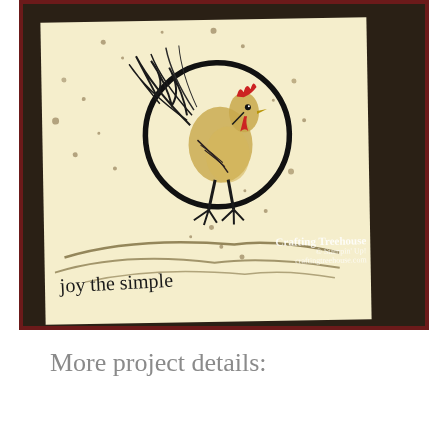[Figure (photo): Handmade greeting card featuring a stamped rooster illustration inside a large black circle on a cream/ivory background, with ink splatter dots, branch line details at bottom, and italic script text 'enjoy the simple' at lower left. Card is layered on a dark brown mat and crimson/burgundy fabric or decorative paper. Crafting Treehouse watermark and Stampin Up credit visible at lower right.]
More project details: